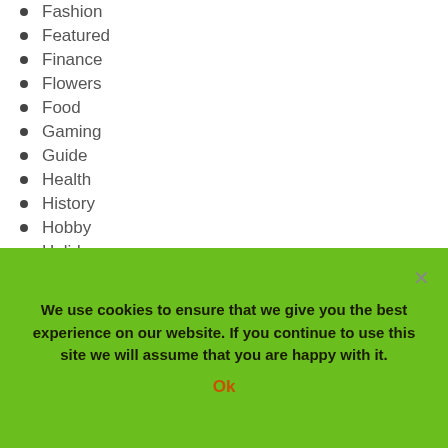Fashion
Featured
Finance
Flowers
Food
Gaming
Guide
Health
History
Hobby
Holiday
Home & Garden
How to
Jobs
Law
We use cookies to ensure that we give you the best experience on our website. If you continue to use this site we will assume that you are happy with it.
Ok